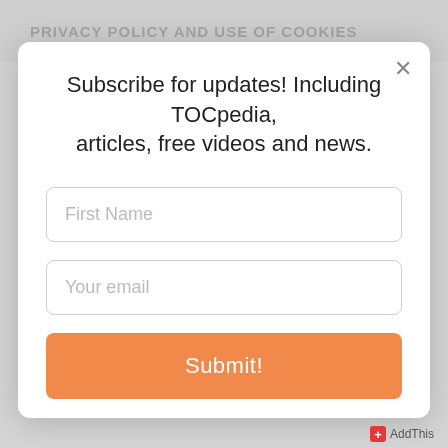PRIVACY POLICY AND USE OF COOKIES
Subscribe for updates! Including TOCpedia, articles, free videos and news.
First Name
Your email
Submit!
AddThis